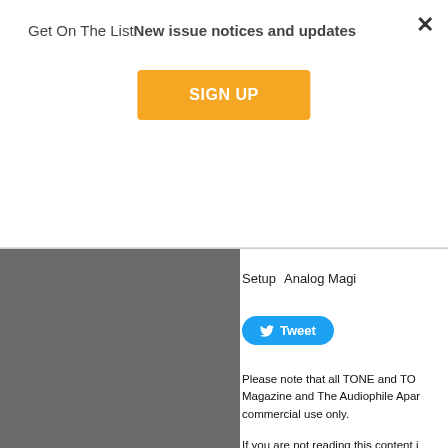Get On The ListNew issue notices and updates
SIGN UP
×
Setup    Analog Magi
Tweet
Please note that all TONE and TO... Magazine and The Audiophile Apar... commercial use only.
If you are not reading this content i... you are looking at may be guilty of ... contact jeff@tonepublications.com
TURNTABLES   CARTRIDGES   TONEARMS   PHONOSTAGES   TAPE   PROJECTS   MY ROO
© 2022 TONE Magazine, LLC   |   All Rights reserved.   |   Site by BloodyMonster Web Solutions